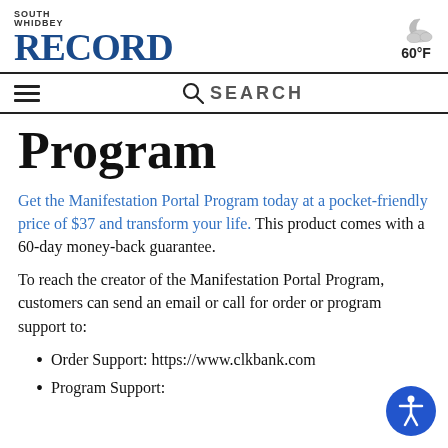SOUTH WHIDBEY RECORD — 60°F
Program
Get the Manifestation Portal Program today at a pocket-friendly price of $37 and transform your life. This product comes with a 60-day money-back guarantee.
To reach the creator of the Manifestation Portal Program, customers can send an email or call for order or program support to:
Order Support: https://www.clkbank.com
Program Support: